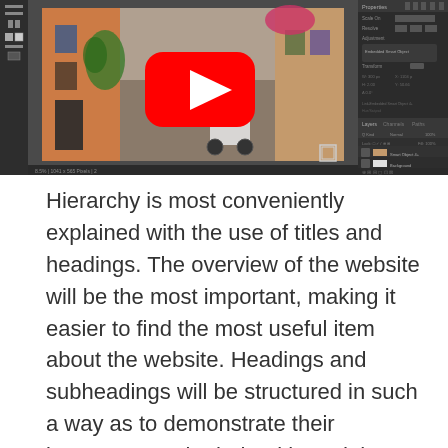[Figure (screenshot): Screenshot of Adobe Photoshop with a YouTube video thumbnail showing a Mediterranean alleyway with a scooter, a large red YouTube play button overlay, and Photoshop panels visible on the right side.]
Hierarchy is most conveniently explained with the use of titles and headings. The overview of the website will be the most important, making it easier to find the most useful item about the website. Headings and subheadings will be structured in such a way as to demonstrate their importance to both the title and the text of the body.